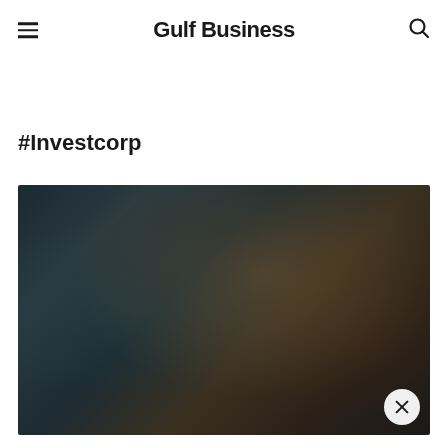Gulf Business
#Investcorp
[Figure (photo): Dark blurred background image, appears to be a dimly lit indoor or financial setting, serves as a thumbnail for an Investcorp-related article]